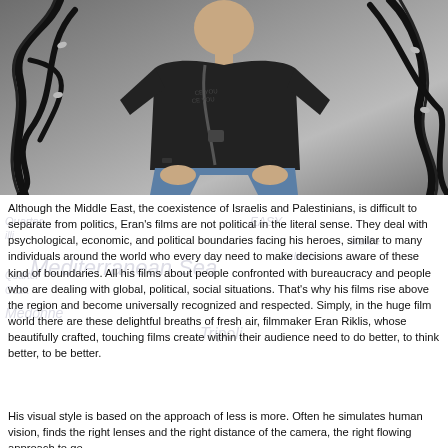[Figure (photo): A man wearing a black t-shirt and jeans sits against a gray background with black film strip ribbons swirling around him.]
Although the Middle East, the coexistence of Israelis and Palestinians, is difficult to separate from politics, Eran's films are not political in the literal sense. They deal with psychological, economic, and political boundaries facing his heroes, similar to many individuals around the world who every day need to make decisions aware of these kind of boundaries. All his films about people confronted with bureaucracy and people who are dealing with global, political, social situations. That's why his films rise above the region and become universally recognized and respected. Simply, in the huge film world there are these delightful breaths of fresh air, filmmaker Eran Riklis, whose beautifully crafted, touching films create within their audience need to do better, to think better, to be better.
His visual style is based on the approach of less is more. Often he simulates human vision, finds the right lenses and the right distance of the camera, the right flowing approach to ge...